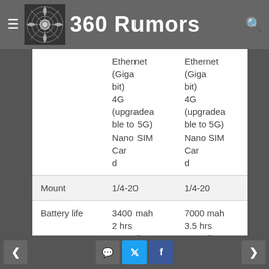360 Rumors
|  | Col1 | Col2 |
| --- | --- | --- |
|  | Ethernet (Gigabit)
4G (upgradeable to 5G)
Nano SIM Card | Ethernet (Gigabit)
4G (upgradeable to 5G)
Nano SIM Card |
| Mount | 1/4-20 | 1/4-20 |
| Battery life | 3400 mah
2 hrs recording
removable battery | 7000 mah
3.5 hrs recording
removable battery |
| Dimensions | 44mm x 44m | 61mm x 61m |
< [comment] [twitter] [facebook] >